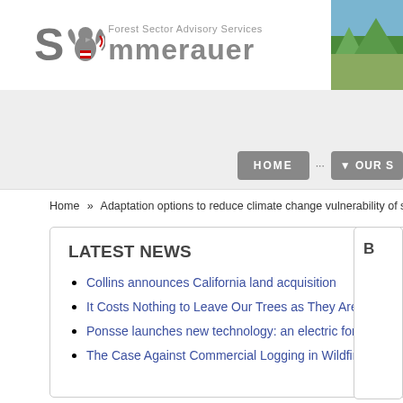[Figure (logo): Forest Sector Advisory Services Sommerauer logo with Austrian eagle emblem and stylized S letter]
[Figure (photo): Landscape photo showing mountains and trees in the top right header]
HOME   ···   ▼ OUR S
Home » Adaptation options to reduce climate change vulnerability of sustainable
LATEST NEWS
Collins announces California land acquisition
It Costs Nothing to Leave Our Trees as They Are
Ponsse launches new technology: an electric forest machine
The Case Against Commercial Logging in Wildfire-Prone Forests
More